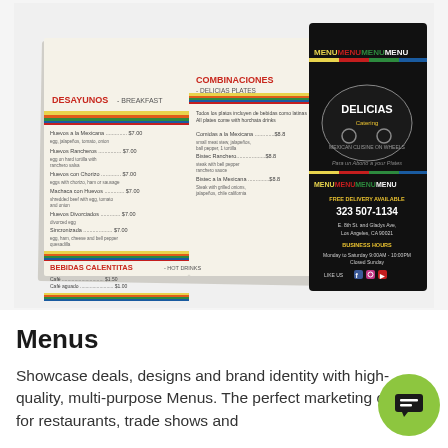[Figure (photo): A folded restaurant menu for Delicias Catering, a Mexican cuisine restaurant. The open menu shows sections including DESAYUNOS (Breakfast), BEBIDAS CALENTITAS (Hot Drinks), MARISCOS (Sea Food), and COMBINACIONES / DELICIAS PLATES. Beside it stands a dark-background menu card with colorful text reading MENUMENUMENUMENU, featuring the Delicias Catering logo, phone number 323 507-1134, address E. 8th St. and Gladys Ave., Los Angeles, CA 90021, and business hours Monday to Saturday 9AM-10PM, Closed Sunday.]
Menus
Showcase deals, designs and brand identity with high-quality, multi-purpose Menus. The perfect marketing option for restaurants, trade shows and